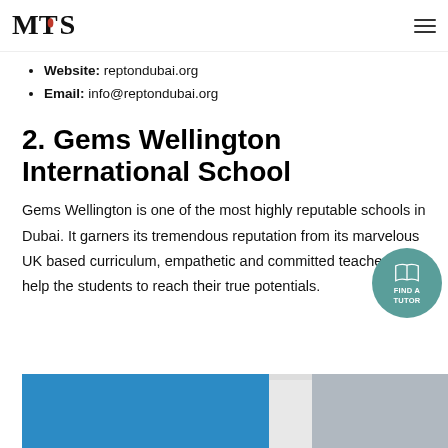MTS logo and navigation menu
Website: reptondubai.org
Email: info@reptondubai.org
2. Gems Wellington International School
Gems Wellington is one of the most highly reputable schools in Dubai. It garners its tremendous reputation from its marvelous UK based curriculum, empathetic and committed teachers who help the students to reach their true potentials.
[Figure (photo): Stacked books with blue and white covers, partial view at bottom of page]